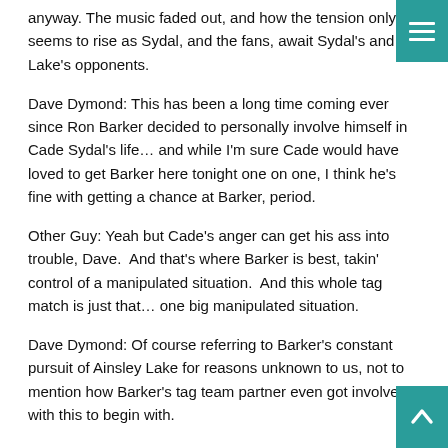anyway. The music faded out, and how the tension only seems to rise as Sydal, and the fans, await Sydal's and Lake's opponents.
Dave Dymond: This has been a long time coming ever since Ron Barker decided to personally involve himself in Cade Sydal's life… and while I'm sure Cade would have loved to get Barker here tonight one on one, I think he's fine with getting a chance at Barker, period.
Other Guy: Yeah but Cade's anger can get his ass into trouble, Dave.  And that's where Barker is best, takin' control of a manipulated situation.  And this whole tag match is just that… one big manipulated situation.
Dave Dymond: Of course referring to Barker's constant pursuit of Ainsley Lake for reasons unknown to us, not to mention how Barker's tag team partner even got involved with this to begin with.